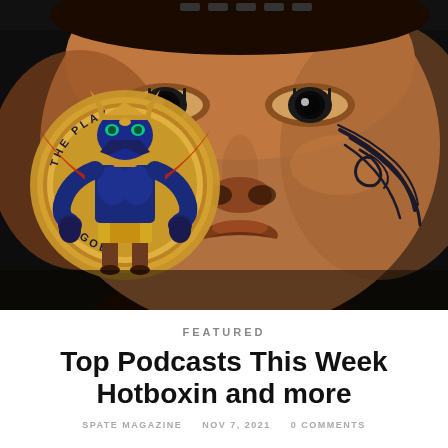[Figure (photo): Close-up portrait of Mike Tyson with tribal face tattoo, overlaid with The Playlist Gods podcast logo — an Egyptian-themed muscular figure in a circular gold badge]
FEATURED
Top Podcasts This Week Hotboxin and more
SPATE MAGAZINE   NOV 7, 2021   0 COMMENTS